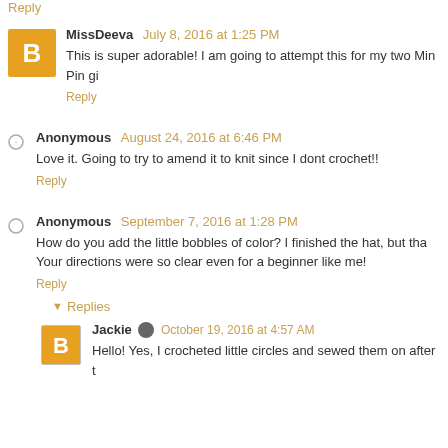Reply
MissDeeva  July 8, 2016 at 1:25 PM
This is super adorable! I am going to attempt this for my two Min Pin gi
Reply
Anonymous  August 24, 2016 at 6:46 PM
Love it. Going to try to amend it to knit since I dont crochet!!
Reply
Anonymous  September 7, 2016 at 1:28 PM
How do you add the little bobbles of color? I finished the hat, but tha
Your directions were so clear even for a beginner like me!
Reply
Replies
Jackie  October 19, 2016 at 4:57 AM
Hello! Yes, I crocheted little circles and sewed them on after t